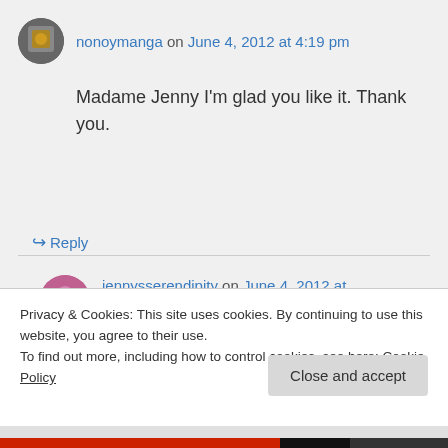nonoymanga on June 4, 2012 at 4:19 pm
Madame Jenny I'm glad you like it. Thank you.
↪ Reply
jennysserendipity on June 4, 2012 at 4:23 pm
Privacy & Cookies: This site uses cookies. By continuing to use this website, you agree to their use. To find out more, including how to control cookies, see here: Cookie Policy
Close and accept